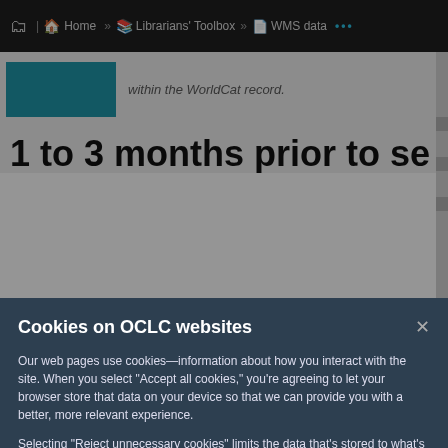Home » Librarians' Toolbox » WMS data ...
within the WorldCat record.
1 to 3 months prior to sending
Cookies on OCLC websites
Our web pages use cookies—information about how you interact with the site. When you select “Accept all cookies,” you’re agreeing to let your browser store that data on your device so that we can provide you with a better, more relevant experience.
Selecting “Reject unnecessary cookies” limits the data that’s stored to what’s strictly necessary for using the site. However, that may negatively impact your experience. You can also customize your cookie settings.
See our Cookie Notice for more information
Accept all cookies
Reject unnecessary cookies